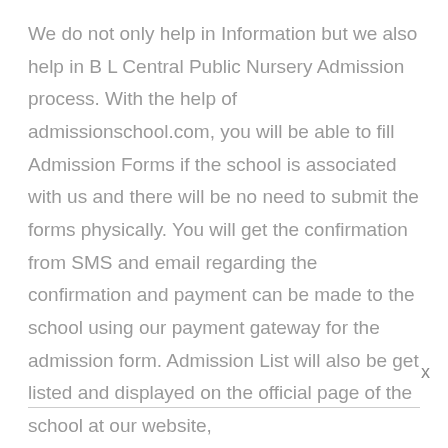We do not only help in Information but we also help in B L Central Public Nursery Admission process. With the help of admissionschool.com, you will be able to fill Admission Forms if the school is associated with us and there will be no need to submit the forms physically. You will get the confirmation from SMS and email regarding the confirmation and payment can be made to the school using our payment gateway for the admission form. Admission List will also be get listed and displayed on the official page of the school at our website,